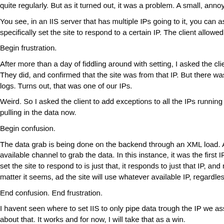quite regularly. But as it turned out, it was a problem. A small, annoying proble
You see, in an IIS server that has multiple IPs going to it, you can assign an IP specifically set the site to respond to a certain IP. The client allowed an except
Begin frustration.
After more than a day of fiddling around with setting, I asked the client to pull u They did, and confirmed that the site was from that IP. But there was also som logs. Turns out, that was one of our IPs.
Weird. So I asked the client to add exceptions to all the IPs running to our serv pulling in the data now.
Begin confusion.
The data grab is being done on the backend through an XML load. Apparently, available channel to grab the data. In this instance, it was the first IP on the lis set the site to respond to is just that, it responds to just that IP, and responds o matter it seems, ad the site will use whatever available IP, regardless of what t
End confusion. End frustration.
I havent seen where to set IIS to only pipe data trough the IP we assign it, but about that. It works and for now, I will take that as a win.
So in the future, if you use IIS, be sure to allow exceptions for all IPs to the bo